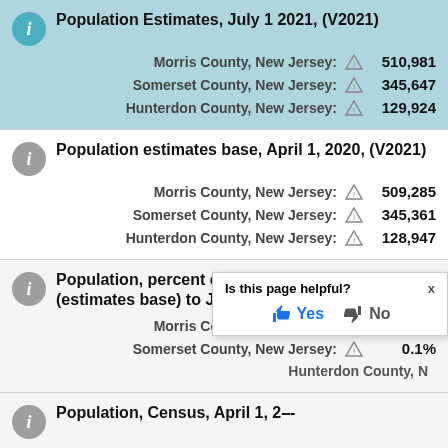Population Estimates, July 1 2021, (V2021)
Morris County, New Jersey: 510,981
Somerset County, New Jersey: 345,647
Hunterdon County, New Jersey: 129,924
Population estimates base, April 1, 2020, (V2021)
Morris County, New Jersey: 509,285
Somerset County, New Jersey: 345,361
Hunterdon County, New Jersey: 128,947
Population, percent change - April 1, 2020 (estimates base) to July 1, 2021, (V2021)
Morris County, New Jersey: 0.3%
Somerset County, New Jersey: 0.1%
Hunterdon County, N...
Is this page helpful? Yes No
Population, Census, April 1, 2...